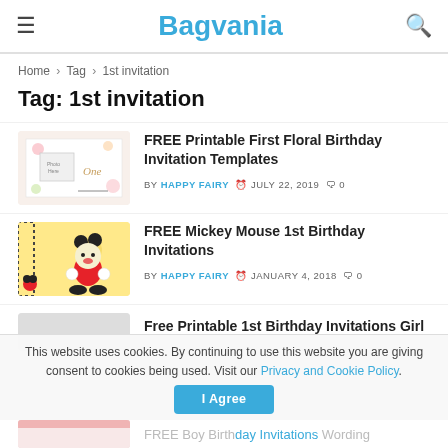Bagvania
Home > Tag > 1st invitation
Tag: 1st invitation
FREE Printable First Floral Birthday Invitation Templates - BY HAPPY FAIRY - JULY 22, 2019 - 0
FREE Mickey Mouse 1st Birthday Invitations - BY HAPPY FAIRY - JANUARY 4, 2018 - 0
Free Printable 1st Birthday Invitations Girl
FREE Boy Birthday Invitations Wording
This website uses cookies. By continuing to use this website you are giving consent to cookies being used. Visit our Privacy and Cookie Policy.
I Agree